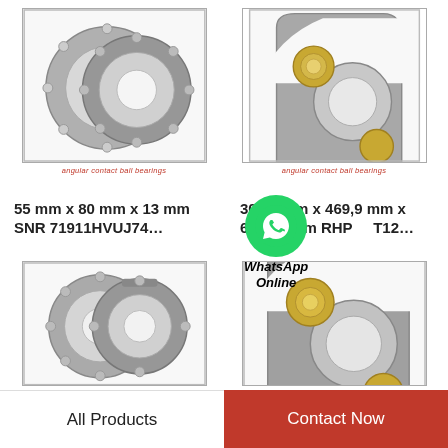[Figure (photo): Angular contact ball bearing pair (two bearings, one open one closed), top-left product]
angular contact ball bearings
[Figure (photo): Angular contact ball bearing (single, gold/bronze cage visible, cross-section view), top-right product]
angular contact ball bearings
55 mm x 80 mm x 13 mm SNR 71911HVUJ74…
304,8 mm x 469,9 mm x 66,675 mm RHP LJT12…
[Figure (photo): Angular contact ball bearing pair (two bearings), bottom-left product]
[Figure (photo): Angular contact ball bearing (single, gold/bronze cage, cross-section), bottom-right product]
[Figure (logo): WhatsApp green circle logo with phone icon and text 'WhatsApp Online']
All Products
Contact Now